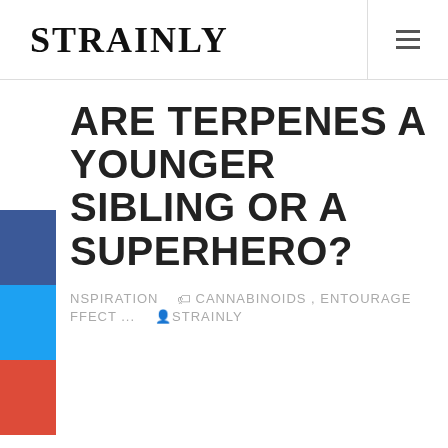STRAINLY
ARE TERPENES A YOUNGER SIBLING OR A SUPERHERO?
INSPIRATION  CANNABINOIDS , ENTOURAGE EFFECT ...  STRAINLY